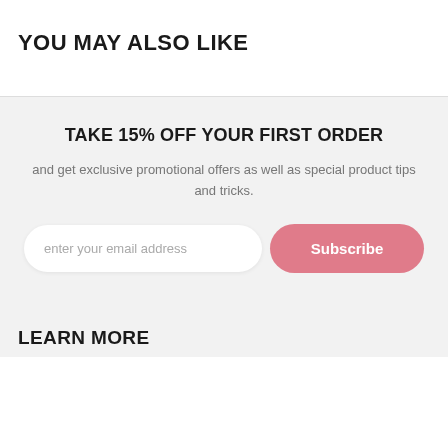YOU MAY ALSO LIKE
TAKE 15% OFF YOUR FIRST ORDER
and get exclusive promotional offers as well as special product tips and tricks.
enter your email address
Subscribe
LEARN MORE